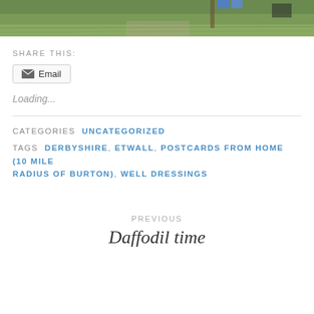[Figure (photo): Top portion of an outdoor photo showing grass, gravel path, and people's feet/legs with a black dog visible at the right edge]
SHARE THIS:
Email
Loading...
CATEGORIES  UNCATEGORIZED
TAGS  DERBYSHIRE, ETWALL, POSTCARDS FROM HOME (10 MILE RADIUS OF BURTON), WELL DRESSINGS
PREVIOUS
Daffodil time